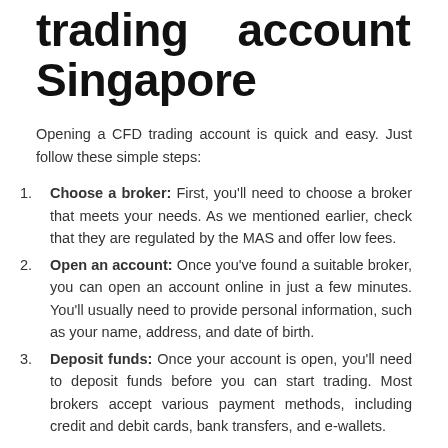trading account in Singapore
Opening a CFD trading account is quick and easy. Just follow these simple steps:
Choose a broker: First, you'll need to choose a broker that meets your needs. As we mentioned earlier, check that they are regulated by the MAS and offer low fees.
Open an account: Once you've found a suitable broker, you can open an account online in just a few minutes. You'll usually need to provide personal information, such as your name, address, and date of birth.
Deposit funds: Once your account is open, you'll need to deposit funds before you can start trading. Most brokers accept various payment methods, including credit and debit cards, bank transfers, and e-wallets.